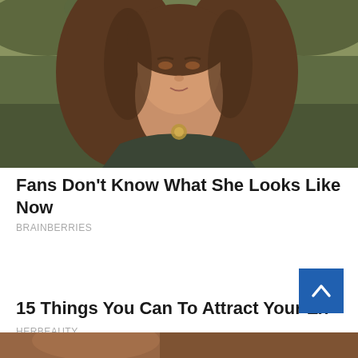[Figure (photo): Young woman with long brown hair wearing a dark top with a decorative necklace, photographed outdoors with a blurred green/brown background.]
Fans Don't Know What She Looks Like Now
BRAINBERRIES
15 Things You Can To Attract Your Exact Ma
HERBEAUTY
[Figure (photo): Partial photo at the bottom of the page, showing a cropped image in warm tones.]